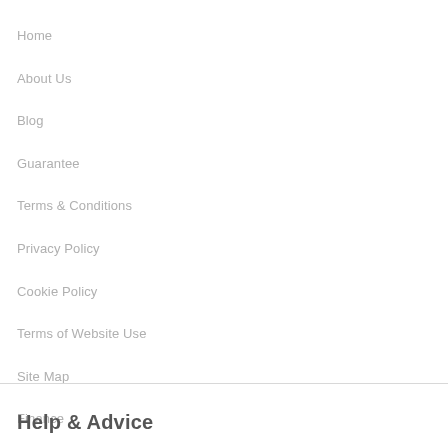Home
About Us
Blog
Guarantee
Terms & Conditions
Privacy Policy
Cookie Policy
Terms of Website Use
Site Map
Finance
Contact Us
Help & Advice